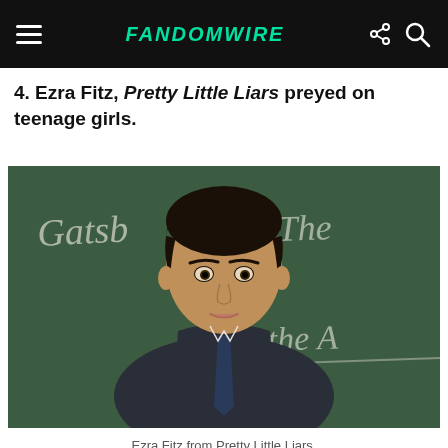FandomWire
4. Ezra Fitz, Pretty Little Liars preyed on teenage girls.
[Figure (photo): A young man in a suit vest and tie standing in front of a chalkboard with handwriting visible (partial words: 'Gatsb', 'The', 'the A'). The man has dark hair and is looking directly at the camera.]
Ezra Fitz from Pretty Little Liars.